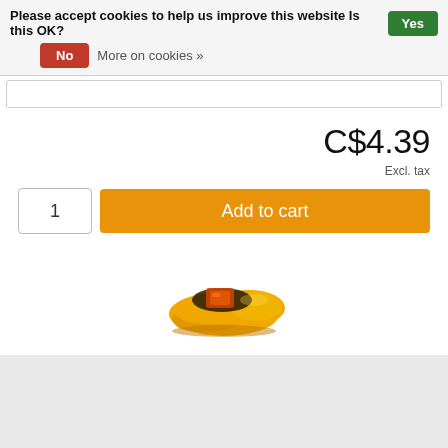Please accept cookies to help us improve this website Is this OK? Yes
No   More on cookies »
C$4.39
Excl. tax
1
Add to cart
[Figure (illustration): Yellow Dutch wooden clog (klompen) shoe illustration]
Information
Reviews (0)
De Huisman Zaanse Coarse Mustard 335g